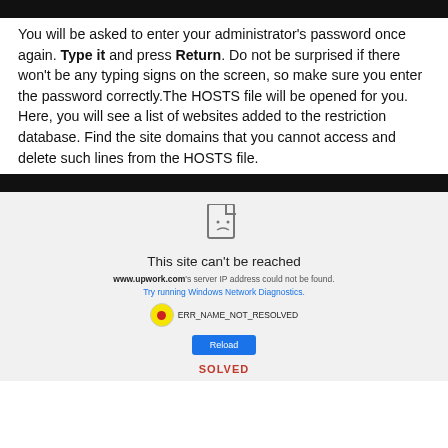You will be asked to enter your administrator's password once again. Type it and press Return. Do not be surprised if there won't be any typing signs on the screen, so make sure you enter the password correctly.The HOSTS file will be opened for you. Here, you will see a list of websites added to the restriction database. Find the site domains that you cannot access and delete such lines from the HOSTS file.
[Figure (screenshot): Browser error screenshot showing 'This site can't be reached' for www.upwork.com, with a sad-face document icon, error text, a yellow circle with red dot highlighting ERR_NAME_NOT_RESOLVED error code, a Reload button, and SOLVED text at bottom.]